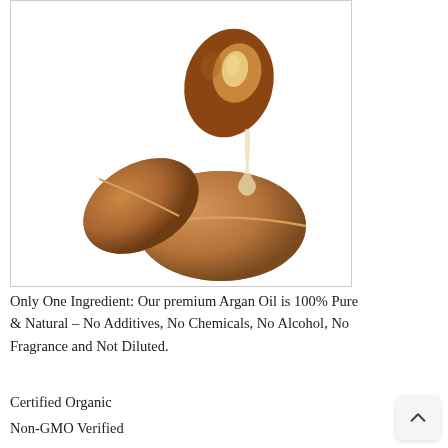[Figure (photo): Argan nuts/seeds with one cracked open showing the kernel inside, and an oil drop dripping from the open nut, photographed on a white background.]
Only One Ingredient: Our premium Argan Oil is 100% Pure & Natural – No Additives, No Chemicals, No Alcohol, No Fragrance and Not Diluted.
Certified Organic
Non-GMO Verified